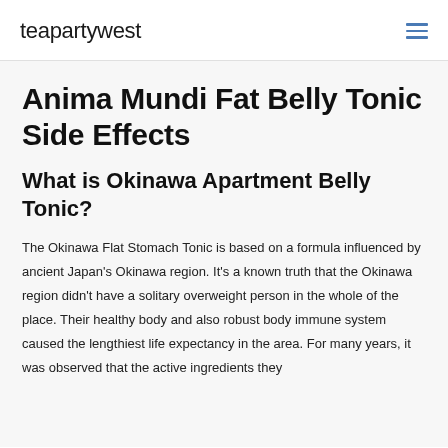teapartywest
Anima Mundi Fat Belly Tonic Side Effects
What is Okinawa Apartment Belly Tonic?
The Okinawa Flat Stomach Tonic is based on a formula influenced by ancient Japan's Okinawa region. It's a known truth that the Okinawa region didn't have a solitary overweight person in the whole of the place. Their healthy body and also robust body immune system caused the lengthiest life expectancy in the area. For many years, it was observed that the active ingredients they